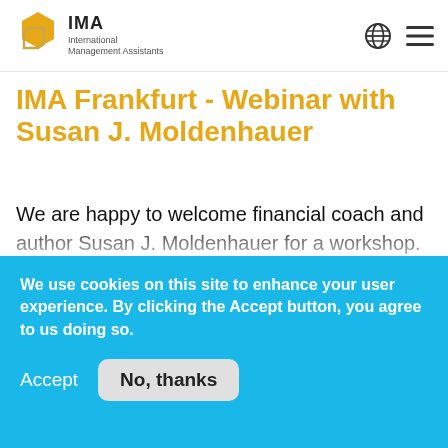[Figure (logo): IMA International Management Assistants logo with hexagon shapes in gold/yellow and white outline, globe icon and hamburger menu icon on the right]
IMA Frankfurt - Webinar with Susan J. Moldenhauer
We are happy to welcome financial coach and author Susan J. Moldenhauer for a workshop. First of all, it is about recognizing one's own "I" in the sense of: What are my skills and how can I
We use cookies on this site to enhance your user experience. By clicking the Accept button, you agree to us doing so.
Accept   No, thanks